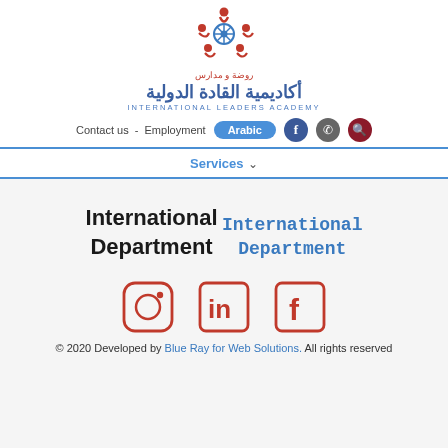[Figure (logo): International Leaders Academy logo with red figures and blue snowflake center]
روضة و مدارس
أكاديمية القادة الدولية
INTERNATIONAL LEADERS ACADEMY
Contact us  -  Employment   Arabic
Services
International Department
International Department
[Figure (illustration): Instagram, LinkedIn, and Facebook social media icons in red outline style]
© 2020 Developed by Blue Ray for Web Solutions. All rights reserved